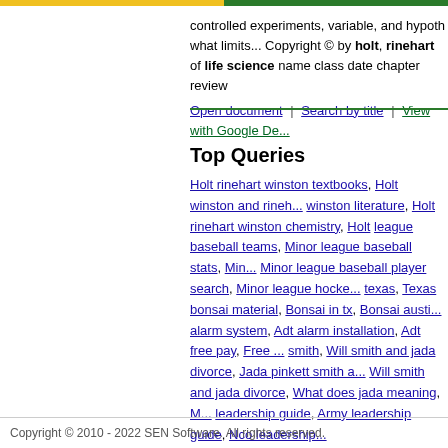controlled experiments, variable, and hypothe... what limits... Copyright © by holt, rinehart... of life science name class date chapter review...
Open document | Search by title | View with Google De...
Top Queries
Holt rinehart winston textbooks, Holt winston and rinehart winston literature, Holt rinehart winston chemistry, Holt league baseball teams, Minor league baseball stats, Minor league baseball player search, Minor league hockey texas, Texas bonsai material, Bonsai in tx, Bonsai austi alarm system, Adt alarm installation, Adt free pay, Free ... smith, Will smith and jada divorce, Jada pinkett smith a... Will smith and jada divorce, What does jada meaning, M leadership guide, Army leadership guide, Nco leadership...
Recent Searches
Holt rinehart winston life science, Minor league, Texas materials bureau publications, 7.0inch mpad® tablet ph... Blufftitler shows, Download, Where to scan large phot... Do=/user/privacy/, Powered by phpfox, Kindle reader ... comment shortcut, Add comment gallery 2.0 words, Co... vehicle v62 registration certificate, Let's go to costa ric... assistant clinical videos, Das networks, Avid microchip ... everett museum, Free bibles, Clinical medical assistant jo...
Copyright © 2010 - 2022 SEN Software. All rights reserved.